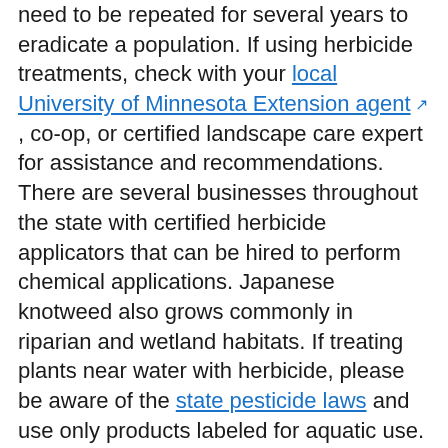need to be repeated for several years to eradicate a population. If using herbicide treatments, check with your local University of Minnesota Extension agent ☞ , co-op, or certified landscape care expert for assistance and recommendations. There are several businesses throughout the state with certified herbicide applicators that can be hired to perform chemical applications. Japanese knotweed also grows commonly in riparian and wetland habitats. If treating plants near water with herbicide, please be aware of the state pesticide laws and use only products labeled for aquatic use.
Do not cut or mow knotweed. Cutting or mowing increases spread and can stimulate growth. Bending stems out of the way can be useful if knotweed blocks pathways.
Always clean and inspect equipment after working in an infested area to prevent transport of plant